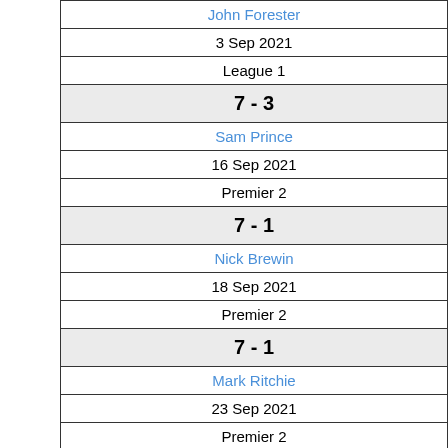| John Forester |
| 3 Sep 2021 |
| League 1 |
| 7 - 3 |
| Sam Prince |
| 16 Sep 2021 |
| Premier 2 |
| 7 - 1 |
| Nick Brewin |
| 18 Sep 2021 |
| Premier 2 |
| 7 - 1 |
| Mark Ritchie |
| 23 Sep 2021 |
| Premier 2 |
| 6 - 0 |
| Ash Collishaw |
| 30 Sep 2021 |
| Premier 2 |
| 1 - 7 |